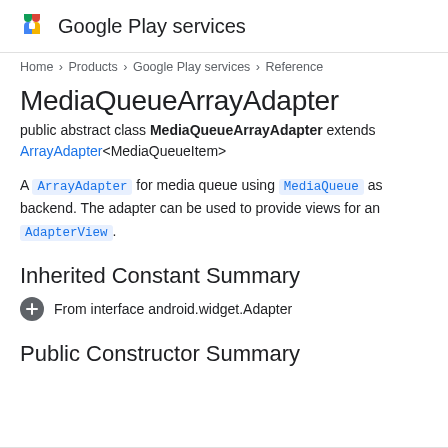Google Play services
Home > Products > Google Play services > Reference
MediaQueueArrayAdapter
public abstract class MediaQueueArrayAdapter extends ArrayAdapter<MediaQueueItem>
A ArrayAdapter for media queue using MediaQueue as backend. The adapter can be used to provide views for an AdapterView.
Inherited Constant Summary
From interface android.widget.Adapter
Public Constructor Summary